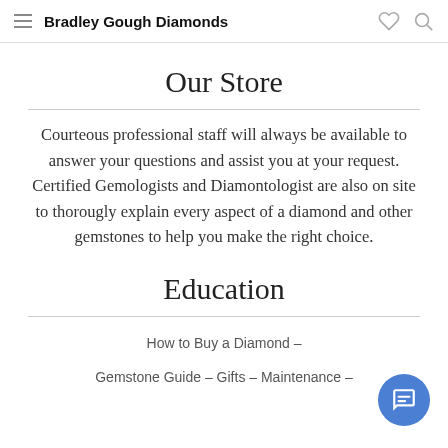Bradley Gough Diamonds
Our Store
Courteous professional staff will always be available to answer your questions and assist you at your request. Certified Gemologists and Diamontologist are also on site to thorougly explain every aspect of a diamond and other gemstones to help you make the right choice.
Education
How to Buy a Diamond  –
Gemstone Guide  –  Gifts  –  Maintenance  –